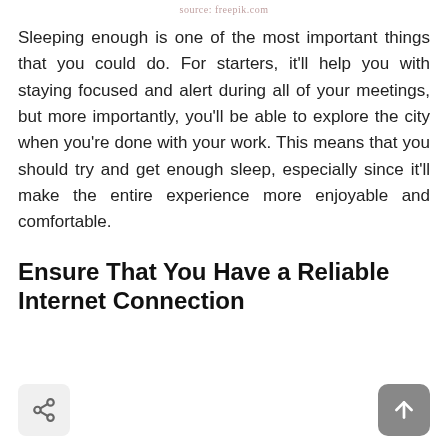source: freepik.com
Sleeping enough is one of the most important things that you could do. For starters, it'll help you with staying focused and alert during all of your meetings, but more importantly, you'll be able to explore the city when you're done with your work. This means that you should try and get enough sleep, especially since it'll make the entire experience more enjoyable and comfortable.
Ensure That You Have a Reliable Internet Connection